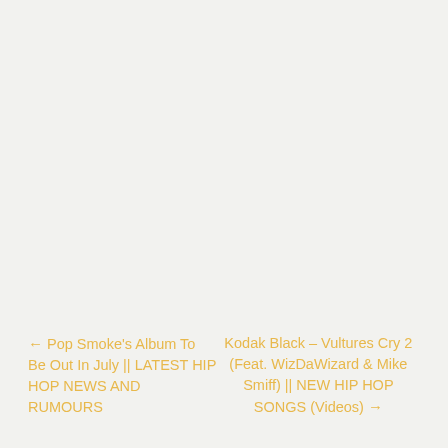← Pop Smoke's Album To Be Out In July || LATEST HIP HOP NEWS AND RUMOURS
Kodak Black – Vultures Cry 2 (Feat. WizDaWizard & Mike Smiff) || NEW HIP HOP SONGS (Videos) →